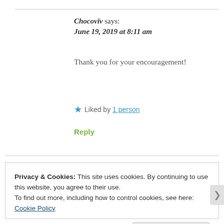Chocoviv says:
June 19, 2019 at 8:11 am
Thank you for your encouragement!
★ Liked by 1 person
Reply
Privacy & Cookies: This site uses cookies. By continuing to use this website, you agree to their use.
To find out more, including how to control cookies, see here: Cookie Policy
Close and accept